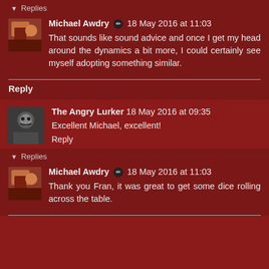▼ Replies
Michael Awdry ✏ 18 May 2016 at 11:03
That sounds like sound advice and once I get my head around the dynamics a bit more, I could certainly see myself adopting something similar.
Reply
The Angry Lurker 18 May 2016 at 09:35
Excellent Michael, excellent!
Reply
▼ Replies
Michael Awdry ✏ 18 May 2016 at 11:03
Thank you Fran, it was great to get some dice rolling across the table.